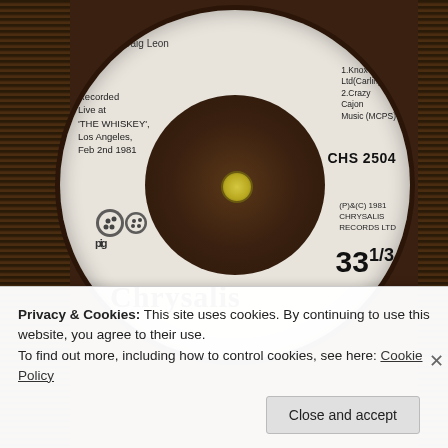[Figure (photo): Close-up photograph of a vinyl record label. The label is white/cream colored on a dark vinyl record. Text on the label reads: Craig Leon (producer), Recorded Live at 'THE WHISKEY', Los Angeles, Feb 2nd 1981. Right side shows: 1.Knox Music Ltd(Carlin) 2.Crazy Cajon Music (MCPS), CHS 2504, (P)&(C) 1981 CHRYSALIS RECORDS LTD, 33 1/3. A dotted letter A logo is in the top right. A pig logo and the Chrysalis brand name appear on the lower left of the label.]
Privacy & Cookies: This site uses cookies. By continuing to use this website, you agree to their use.
To find out more, including how to control cookies, see here: Cookie Policy
Close and accept